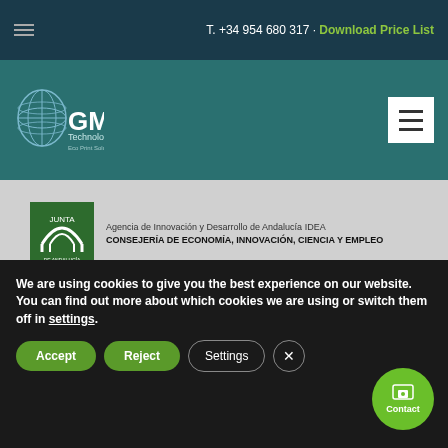T. +34 954 680 317 · Download Price List
[Figure (logo): GM Technology Eco Print Solutions company logo with globe graphic]
[Figure (logo): Agencia de Innovación y Desarrollo de Andalucía IDEA - Consejería de Economía, Innovación, Ciencia y Empleo logo with Junta de Andalucía emblem]
[Figure (logo): Andalucía regional logo with stars and green/white graphic]
We are using cookies to give you the best experience on our website.
You can find out more about which cookies we are using or switch them off in settings.
Accept  Reject  Settings  ×  Contact